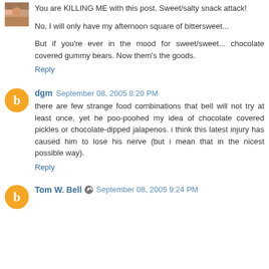[Figure (photo): Small avatar image in top left corner]
You are KILLING ME with this post. Sweet/salty snack attack!
No, I will only have my afternoon square of bittersweet...
But if you're ever in the mood for sweet/sweet... chocolate covered gummy bears. Now them's the goods.
Reply
[Figure (logo): Orange Blogger avatar circle with B letter for dgm]
dgm  September 08, 2005 8:20 PM
there are few strange food combinations that bell will not try at least once, yet he poo-poohed my idea of chocolate covered pickles or chocolate-dipped jalapenos. i think this latest injury has caused him to lose his nerve (but i mean that in the nicest possible way).
Reply
[Figure (logo): Orange Blogger avatar circle with B letter for Tom W. Bell]
Tom W. Bell  September 08, 2005 9:24 PM